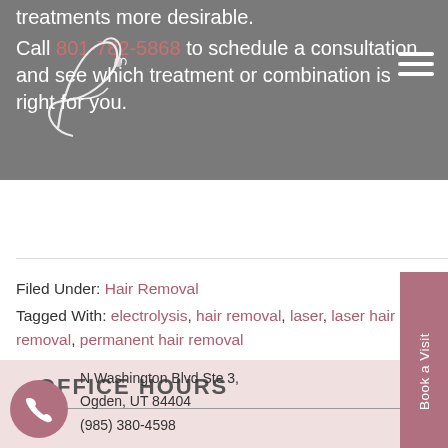treatments more desirable.
[Figure (logo): Cursive letter A logo with decorative flourish]
Call 801-782-5868 to schedule a consultation and see which treatment or combination is right for you.
Filed Under: Hair Removal
Tagged With: electrolysis, hair removal, laser, laser hair removal, permanent hair removal
OFFICE HOURS
N Washington Blvd Ste 3, Ogden, UT 84404
(985) 380-4598